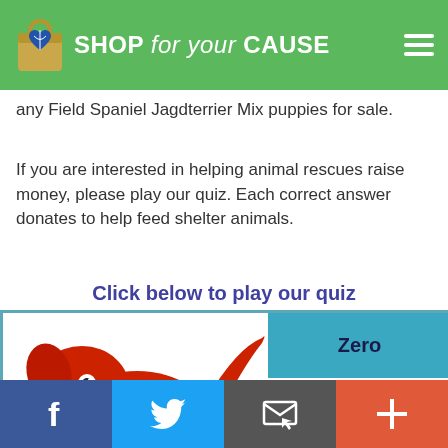SHOP for your CAUSE
any Field Spaniel Jagdterrier Mix puppies for sale.
If you are interested in helping animal rescues raise money, please play our quiz. Each correct answer donates to help feed shelter animals.
Click below to play our quiz
[Figure (illustration): Quiz panel showing Clifford the Big Red Dog cartoon illustration on the left, with answer buttons on the right: 'Zero' and 'Clifford']
Social sharing bar with Facebook, Twitter, Email, and Add (+) buttons